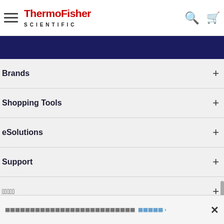[Figure (logo): ThermoFisher Scientific logo with hamburger menu, search icon, and cart icon in white header bar]
[Figure (other): Navy blue banner strip]
Brands +
Shopping Tools +
eSolutions +
Support +
[garbled text] +
[garbled text] [garbled link text] › ×